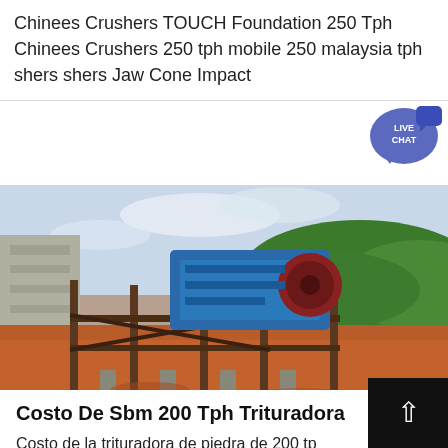Chinees Crushers TOUCH Foundation 250 Tph Chinees Crushers 250 tph mobile 250 malaysia tph shers shers Jaw Cone Impact
[Figure (photo): Outdoor industrial crusher machine setup at a mining or quarry site. A large blue jaw crusher is mounted on a steel frame structure. Red/orange machinery components visible. Green hills in the background, red/orange soil ground visible. Overcast sky.]
Costo De Sbm 200 Tph Trituradora
Costo de la trituradora de piedra de 200 tph costo de 200 tph planta trituradora en la